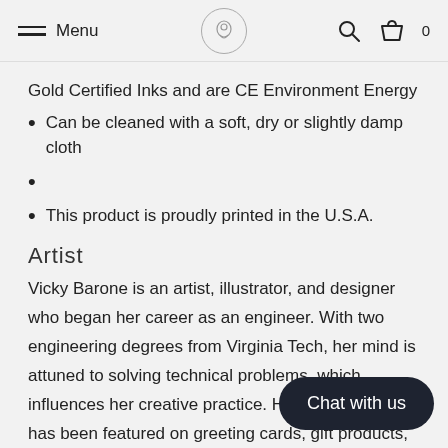Menu [logo] [search] [cart]
Gold Certified Inks and are CE Environment Energy
Can be cleaned with a soft, dry or slightly damp cloth
This product is proudly printed in the U.S.A.
Artist
Vicky Barone is an artist, illustrator, and designer who began her career as an engineer. With two engineering degrees from Virginia Tech, her mind is attuned to solving technical problems, which influences her creative practice. Her diverse artwork has been featured on greeting cards, gift products, packaging, and corporate branding. She is inspired by patterns, texture, color, nature, and the wonderful chaos of pa... spends most of her time drawing, pai... exploring, and having fun.
Chat with us